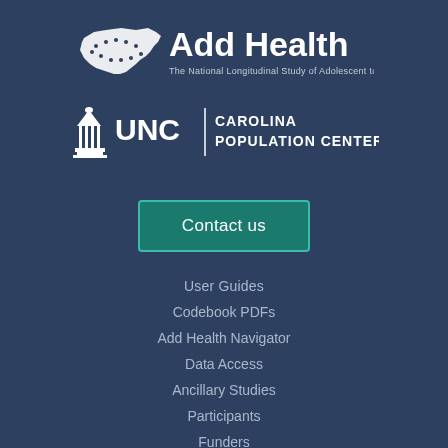[Figure (logo): Add Health logo — The National Longitudinal Study of Adolescent to Adult Health, with US map icon and dotted pattern]
[Figure (logo): UNC Carolina Population Center logo with bell tower icon and vertical divider]
Contact us
User Guides
Codebook PDFs
Add Health Navigator
Data Access
Ancillary Studies
Participants
Funders
FAQs